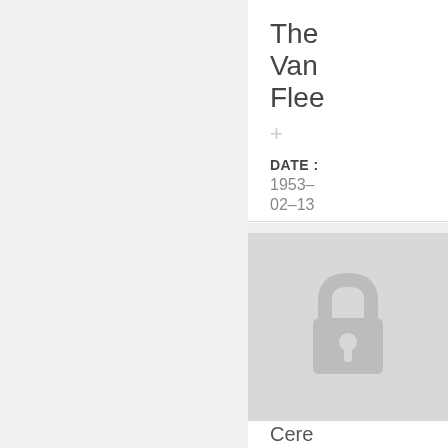The Van Flee
+ DATE : 1953-02-13
[Figure (illustration): Locked padlock icon on a light gray background, indicating restricted/private content]
Cere